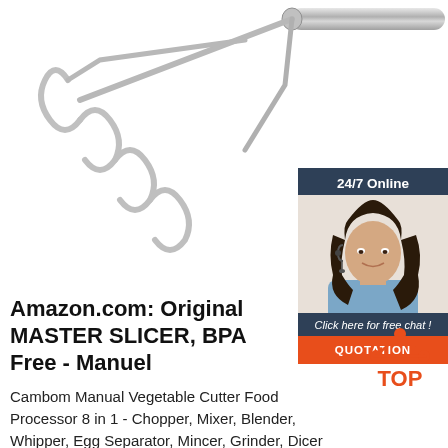[Figure (photo): Stainless steel potato masher/whisk tool on white background]
[Figure (screenshot): 24/7 Online chat widget with female customer service agent photo, 'Click here for free chat!' text and orange QUOTATION button]
Amazon.com: Original MASTER SLICER, BPA Free - Manuel
[Figure (logo): TOP logo with orange triangular arrow design above word TOP in orange]
Cambom Manual Vegetable Cutter Food Processor 8 in 1 - Chopper, Mixer, Blender, Whipper, Egg Separator, Mincer, Grinder, Dicer